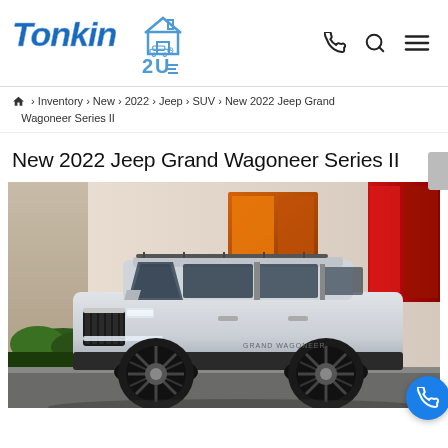[Figure (logo): Tonkin 2U dealership logo with house and car icon]
🏠 › Inventory › New › 2022 › Jeep › SUV › New 2022 Jeep Grand Wagoneer Series II
New 2022 Jeep Grand Wagoneer Series II
[Figure (photo): Front three-quarter view of a white/silver 2022 Jeep Grand Wagoneer parked in front of a building with red accents and warm lighting]